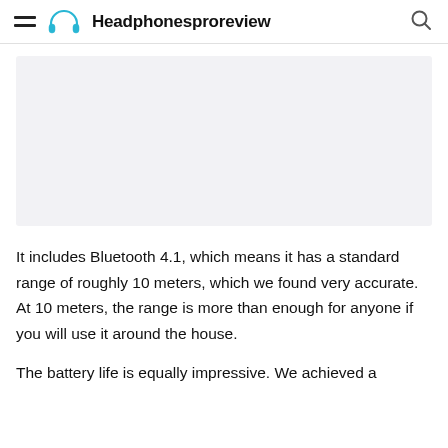Headphonesproreview
[Figure (photo): Placeholder image area (light gray background, likely a product image)]
It includes Bluetooth 4.1, which means it has a standard range of roughly 10 meters, which we found very accurate. At 10 meters, the range is more than enough for anyone if you will use it around the house.
The battery life is equally impressive. We achieved a